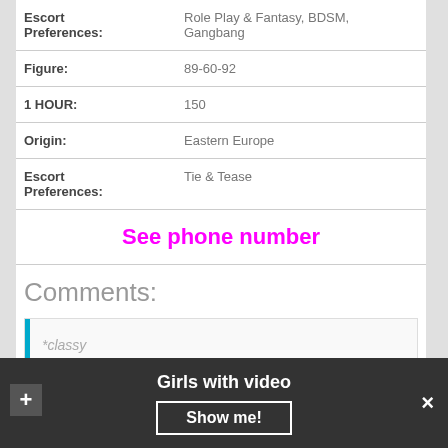| Field | Value |
| --- | --- |
| Escort Preferences: | Role Play & Fantasy, BDSM, Gangbang |
| Figure: | 89-60-92 |
| 1 HOUR: | 150 |
| Origin: | Eastern Europe |
| Escort Preferences: | Tie & Tease |
See phone number
Comments:
*classy
Girls with video
Show me!